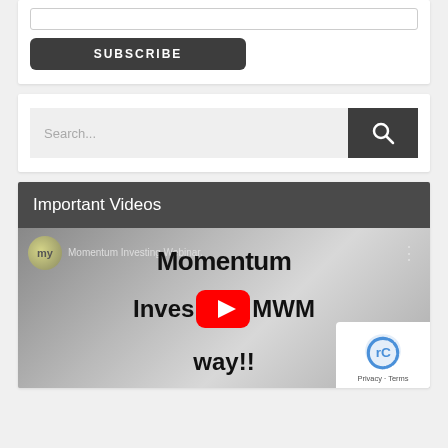[Figure (screenshot): Subscribe form with email input field and dark SUBSCRIBE button]
[Figure (screenshot): Search bar with text input showing 'Search...' placeholder and dark search icon button]
Important Videos
[Figure (screenshot): YouTube video thumbnail for 'Momentum Investing Webinar. Momentum MWM way!!' with YouTube play button overlay and reCAPTCHA widget in corner]